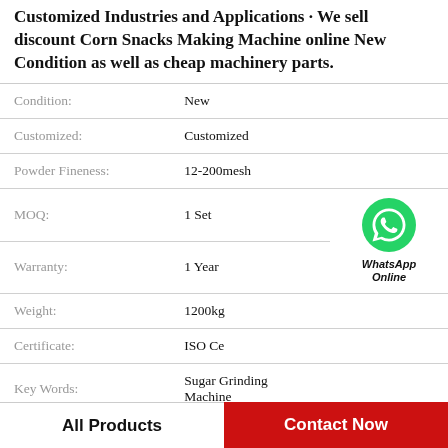Customized Industries and Applications · We sell discount Corn Snacks Making Machine online New Condition as well as cheap machinery parts.
| Property | Value |
| --- | --- |
| Condition: | New |
| Customized: | Customized |
| Powder Fineness: | 12-200mesh |
| MOQ: | 1 Set |
| Warranty: | 1 Year |
| Weight: | 1200kg |
| Certificate: | ISO Ce |
| Key Words: | Sugar Grinding Machine |
[Figure (logo): WhatsApp Online button with green phone icon and text 'WhatsApp Online']
All Products
Contact Now